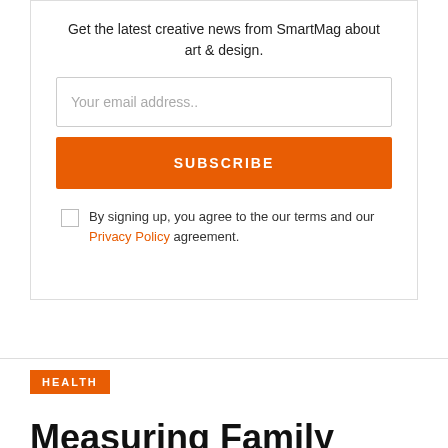Get the latest creative news from SmartMag about art & design.
Your email address..
SUBSCRIBE
By signing up, you agree to the our terms and our Privacy Policy agreement.
HEALTH
Measuring Family